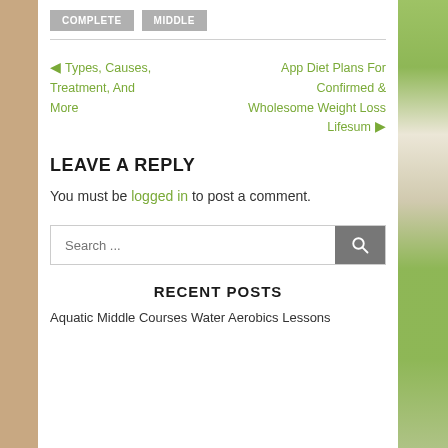COMPLETE   MIDDLE
◀ Types, Causes, Treatment, And More    App Diet Plans For Confirmed & Wholesome Weight Loss Lifesum ▶
LEAVE A REPLY
You must be logged in to post a comment.
Search ...
RECENT POSTS
Aquatic Middle Courses Water Aerobics Lessons